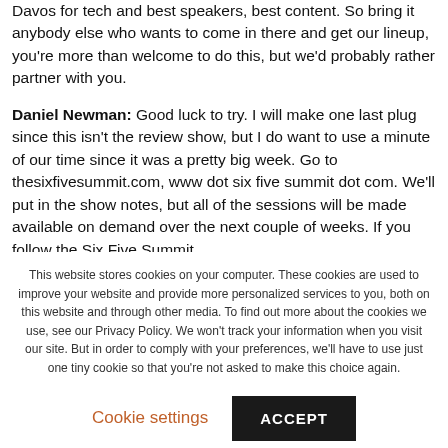Davos for tech and best speakers, best content. So bring it anybody else who wants to come in there and get our lineup, you're more than welcome to do this, but we'd probably rather partner with you.
Daniel Newman: Good luck to try. I will make one last plug since this isn't the review show, but I do want to use a minute of our time since it was a pretty big week. Go to thesixfivesummit.com, www dot six five summit dot com. We'll put in the show notes, but all of the sessions will be made available on demand over the next couple of weeks. If you follow the Six Five Summit
This website stores cookies on your computer. These cookies are used to improve your website and provide more personalized services to you, both on this website and through other media. To find out more about the cookies we use, see our Privacy Policy. We won't track your information when you visit our site. But in order to comply with your preferences, we'll have to use just one tiny cookie so that you're not asked to make this choice again.
Cookie settings
ACCEPT